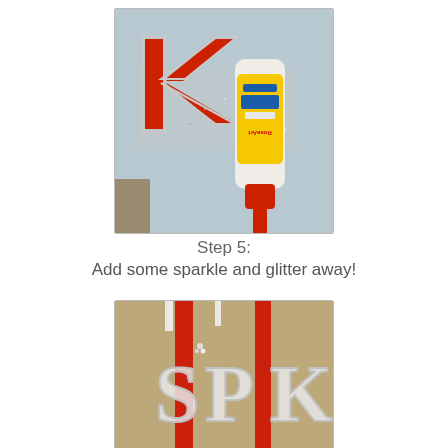[Figure (photo): Photo of a red letter K with silver glitter and a RoseArt School Glue bottle on a light blue surface]
Step 5:
Add some sparkle and glitter away!
[Figure (photo): Photo of glittered letters S, P, K decorated with silver glitter and red ribbon on a tan fabric background]